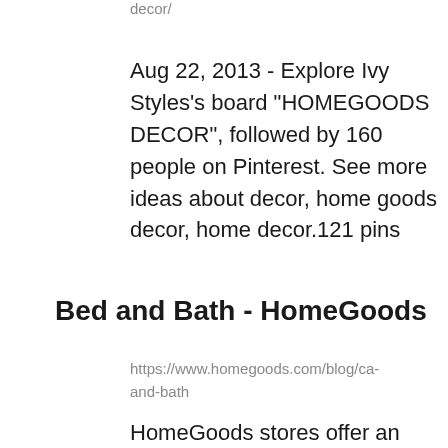decor/
Aug 22, 2013 - Explore Ivy Styles's board "HOMEGOODS DECOR", followed by 160 people on Pinterest. See more ideas about decor, home goods decor, home decor.121 pins
Bed and Bath - HomeGoods
https://www.homegoods.com/blog/ca-and-bath
HomeGoods stores offer an